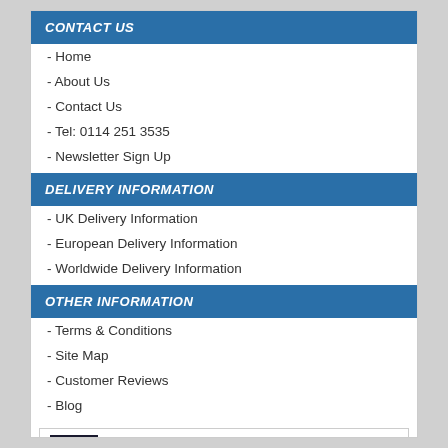CONTACT US
- Home
- About Us
- Contact Us
- Tel: 0114 251 3535
- Newsletter Sign Up
DELIVERY INFORMATION
- UK Delivery Information
- European Delivery Information
- Worldwide Delivery Information
OTHER INFORMATION
- Terms & Conditions
- Site Map
- Customer Reviews
- Blog
[Figure (logo): Trustpilot star icon with text: View our Trustpilot Customer Reviews]
[Figure (logo): Facebook icon with text: Like us on Facebook]